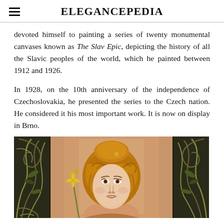ELEGANCEPEDIA
devoted himself to painting a series of twenty monumental canvases known as The Slav Epic, depicting the history of all the Slavic peoples of the world, which he painted between 1912 and 1926.
In 1928, on the 10th anniversary of the independence of Czechoslovakia, he presented the series to the Czech nation. He considered it his most important work. It is now on display in Brno.
[Figure (illustration): Art Nouveau style illustration of a young woman with golden/auburn hair styled up, surrounded by decorative floral and organic motifs in dark green on the sides, warm peach/cream background. The woman's face is depicted in a classical Art Nouveau manner reminiscent of Alphonse Mucha's style.]